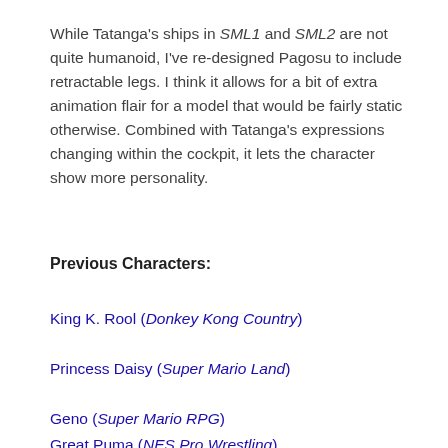While Tatanga's ships in SML1 and SML2 are not quite humanoid, I've re-designed Pagosu to include retractable legs. I think it allows for a bit of extra animation flair for a model that would be fairly static otherwise. Combined with Tatanga's expressions changing within the cockpit, it lets the character show more personality.
Previous Characters:
King K. Rool (Donkey Kong Country)
Princess Daisy (Super Mario Land)
Geno (Super Mario RPG)
Great Puma (NES Pro Wrestling)